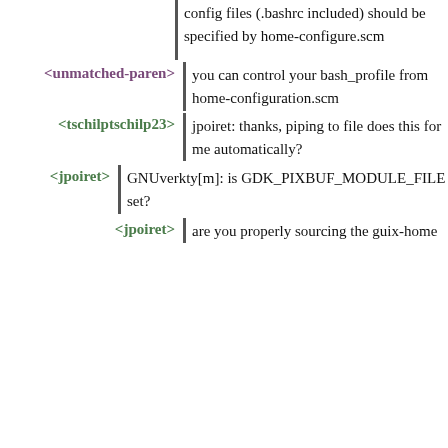config files (.bashrc included) should be specified by home-configure.scm
<unmatched-paren> you can control your bash_profile from home-configuration.scm
<tschilptschilp23> jpoiret: thanks, piping to file does this for me automatically?
<jpoiret> GNUverkty[m]: is GDK_PIXBUF_MODULE_FILE set?
<jpoiret> are you properly sourcing the guix-home